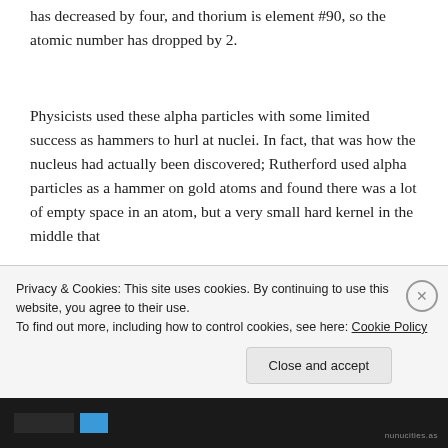has decreased by four, and thorium is element #90, so the atomic number has dropped by 2.
Physicists used these alpha particles with some limited success as hammers to hurl at nuclei. In fact, that was how the nucleus had actually been discovered; Rutherford used alpha particles as a hammer on gold atoms and found there was a lot of empty space in an atom, but a very small hard kernel in the middle that
Privacy & Cookies: This site uses cookies. By continuing to use this website, you agree to their use.
To find out more, including how to control cookies, see here: Cookie Policy
Close and accept